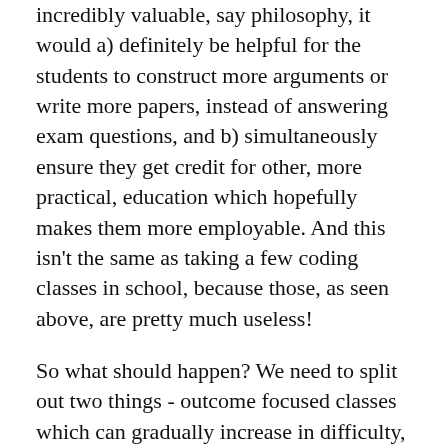incredibly valuable, say philosophy, it would a) definitely be helpful for the students to construct more arguments or write more papers, instead of answering exam questions, and b) simultaneously ensure they get credit for other, more practical, education which hopefully makes them more employable. And this isn't the same as taking a few coding classes in school, because those, as seen above, are pretty much useless!
So what should happen? We need to split out two things - outcome focused classes which can gradually increase in difficulty, or learning focused courses which students can pick and choose.
For instance, if you want to study filmmaking, you'd need to actually make films (the practical bit resulting in a portfolio) and choose study subjects (presumably things you find interesting or useful like the ... I don't